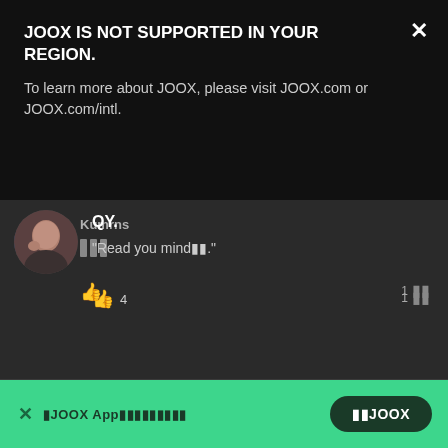JOOX IS NOT SUPPORTED IN YOUR REGION.
To learn more about JOOX, please visit JOOX.com or JOOX.com/intl.
Kumrns
QY.
"Read you mind▐▐."
4
▐JOOX App▐▐▐▐▐▐▐▐▐
▐▐JOOX